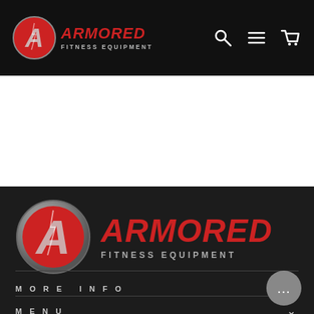[Figure (screenshot): Armored Fitness Equipment website screenshot showing navigation bar at top with logo, search, menu, and cart icons on black background, white content area in middle, and dark footer with larger logo, MORE INFO and MENU accordion rows, and chat bubble widget.]
ARMORED FITNESS EQUIPMENT
MORE INFO
MENU